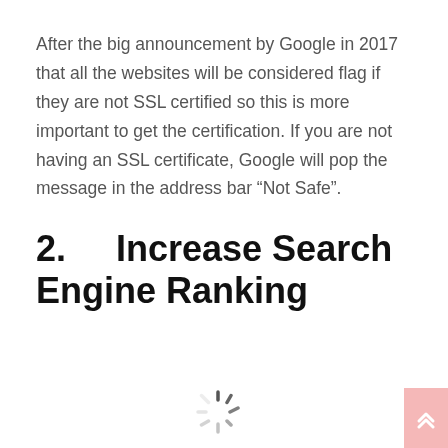After the big announcement by Google in 2017 that all the websites will be considered flag if they are not SSL certified so this is more important to get the certification. If you are not having an SSL certificate, Google will pop the message in the address bar “Not Safe”.
2.       Increase Search Engine Ranking
[Figure (other): Loading spinner icon at bottom center of page]